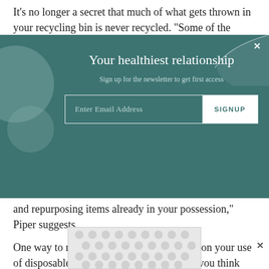It’s no longer a secret that much of what gets thrown in your recycling bin is never recycled. “Some of the
[Figure (screenshot): Teal newsletter signup modal overlay with title 'Your healthiest relationship', subtitle 'Sign up for the newsletter to get first access', an email input field, and a SIGNUP button. Decorative circle shapes on the left and curved line on the top right. Close X button in top right corner.]
and repurposing items already in your possession,” Piper suggests.
One way to reduce and reuse is to cut back on your use of disposables in the first place, even ones you think
[Figure (other): Advertisement or image placeholder with repeating dot/circle pattern in light gray on white background]